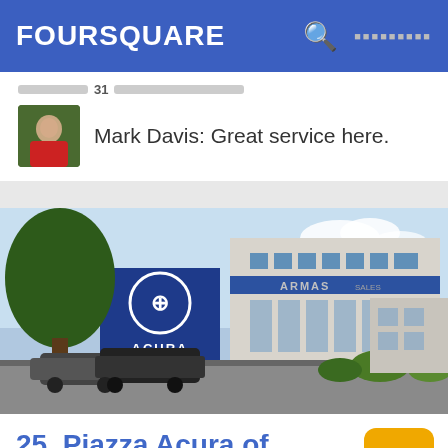FOURSQUARE
Mark Davis: Great service here.
[Figure (photo): Exterior photo of Piazza Acura of Ardmore dealership building with Acura signage and cars in parking lot]
25. Piazza Acura of Ardmore
6.1
150 W Lancaster Ave, Ardmore, PA